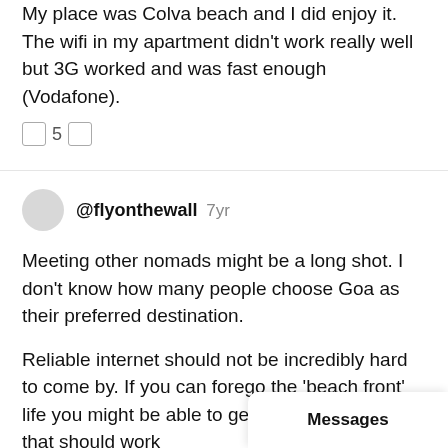My place was Colva beach and I did enjoy it. The wifi in my apartment didn't work really well but 3G worked and was fast enough (Vodafone).
☐ 5 ☐
@flyonthewall 7yr
Meeting other nomads might be a long shot. I don't know how many people choose Goa as their preferred destination.
Reliable internet should not be incredibly hard to come by. If you can forego the 'beach front' life you might be able to get an apartment with that should work
Messages